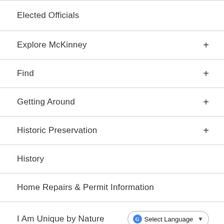Elected Officials
Explore McKinney +
Find +
Getting Around +
Historic Preservation +
History
Home Repairs & Permit Information
I Am Unique by Nature
Neighborhood Services